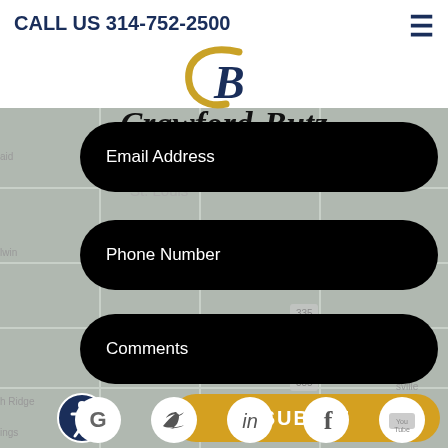CALL US 314-752-2500
[Figure (logo): Crawford-Butz logo: stylized CB monogram in gold and navy, with company name 'Crawford-Butz' in italic serif below]
[Figure (screenshot): Background map showing St. Louis area]
Email Address
Phone Number
Comments
SUBMIT
[Figure (illustration): Accessibility icon — person in circle]
[Figure (illustration): Social media icons: Google, Twitter, LinkedIn, Facebook, YouTube]